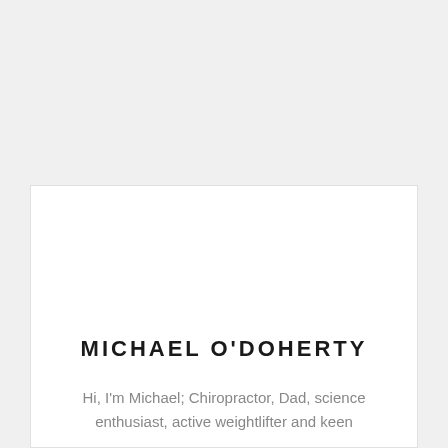MICHAEL O'DOHERTY
Hi, I'm Michael; Chiropractor, Dad, science enthusiast, active weightlifter and keen